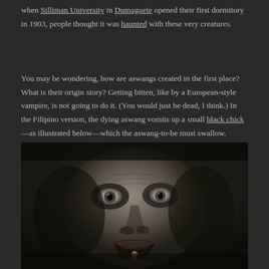when Silliman University in Dumaguete opened their first dormitory in 1903, people thought it was haunted with these very creatures.
You may be wondering, how are aswangs created in the first place? What is their origin story? Getting bitten, like by a European-style vampire, is not going to do it. (You would just be dead, I think.) In the Filipino version, the dying aswang vomits up a small black chick—as illustrated below—which the aswang-to-be must swallow. Waiter, check please.
[Figure (photo): A dark, horror-style photograph of a terrifying creature or person with distorted facial features, hollow eyes, and what appears to be a small black bird beak protruding from its mouth, set against a very dark background.]